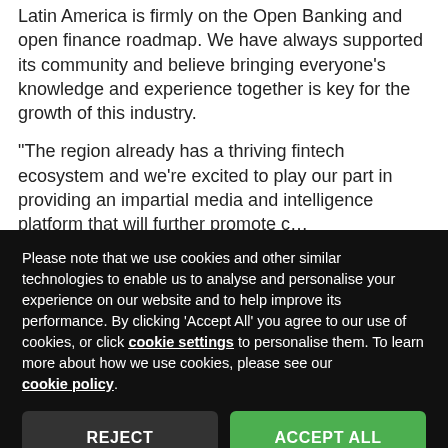Latin America is firmly on the Open Banking and open finance roadmap. We have always supported its community and believe bringing everyone’s knowledge and experience together is key for the growth of this industry.
“The region already has a thriving fintech ecosystem and we’re excited to play our part in providing an impartial media and intelligence platform that will further promote c…
Please note that we use cookies and other similar technologies to enable us to analyse and personalise your experience on our website and to help improve its performance. By clicking ‘Accept All’ you agree to our use of cookies, or click cookie settings to personalise them. To learn more about how we use cookies, please see our cookie policy.
Feature: Where is Latin America on its Open Banking